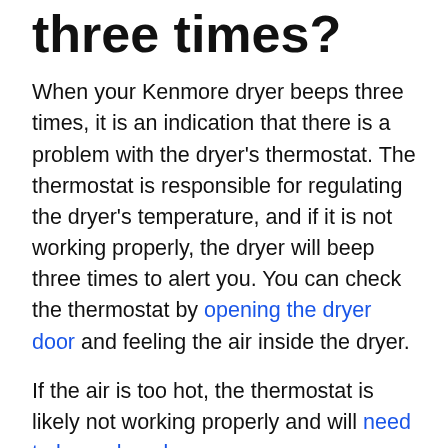three times?
When your Kenmore dryer beeps three times, it is an indication that there is a problem with the dryer's thermostat. The thermostat is responsible for regulating the dryer's temperature, and if it is not working properly, the dryer will beep three times to alert you. You can check the thermostat by opening the dryer door and feeling the air inside the dryer.
If the air is too hot, the thermostat is likely not working properly and will need to be replaced.
How do I clear the error code on my